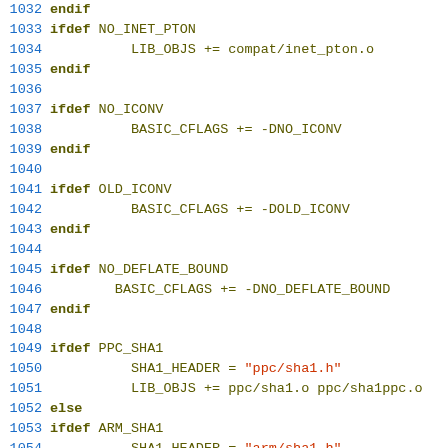Source code listing, lines 1032-1061, Makefile/build script snippet
1032  endif
1033  ifdef NO_INET_PTON
1034          LIB_OBJS += compat/inet_pton.o
1035  endif
1036
1037  ifdef NO_ICONV
1038          BASIC_CFLAGS += -DNO_ICONV
1039  endif
1040
1041  ifdef OLD_ICONV
1042          BASIC_CFLAGS += -DOLD_ICONV
1043  endif
1044
1045  ifdef NO_DEFLATE_BOUND
1046          BASIC_CFLAGS += -DNO_DEFLATE_BOUND
1047  endif
1048
1049  ifdef PPC_SHA1
1050          SHA1_HEADER = "ppc/sha1.h"
1051          LIB_OBJS += ppc/sha1.o ppc/sha1ppc.o
1052  else
1053  ifdef ARM_SHA1
1054          SHA1_HEADER = "arm/sha1.h"
1055          LIB_OBJS += arm/sha1.o arm/sha1_arm.o
1056  else
1057  ifdef MOZILLA_SHA1
1058          SHA1_HEADER = "mozilla-sha1/sha1.h"
1059          LIB_OBJS += mozilla-sha1/sha1.o
1060  else
1061          SHA1_HEADER = <openssl/sha.h>